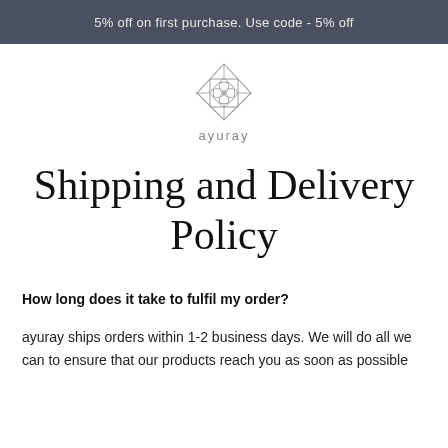5% off on first purchase. Use code - 5% off
[Figure (logo): Ayuray geometric diamond logo with inner floral pattern, line art style]
Shipping and Delivery Policy
How long does it take to fulfil my order?
ayuray ships orders within 1-2 business days. We will do all we can to ensure that our products reach you as soon as possible